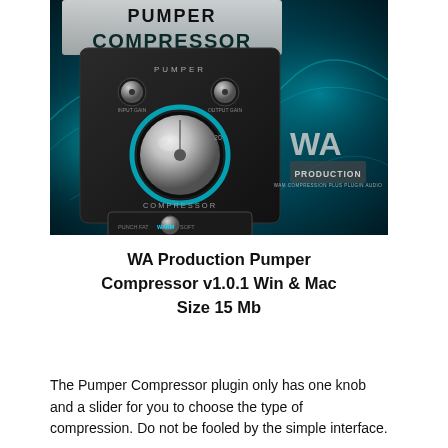[Figure (photo): Product image for WA Production Pumper Compressor plugin. Shows a black hardware-style compressor unit with a large silver knob labeled COMPRESSOR and smaller knobs labeled INPUT GAIN and OUTPUT GAIN, a slider with settings PUNCH, FAT, WARM, SOFT, and the WA PRODUCTION logo. Background features teal/cyan swirling smoke-like effects. The top portion shows the text PUMPER COMPRESSOR in bold dark letters on a lighter banner area.]
WA Production Pumper Compressor v1.0.1 Win & Mac Size 15 Mb
The Pumper Compressor plugin only has one knob and a slider for you to choose the type of compression. Do not be fooled by the simple interface.